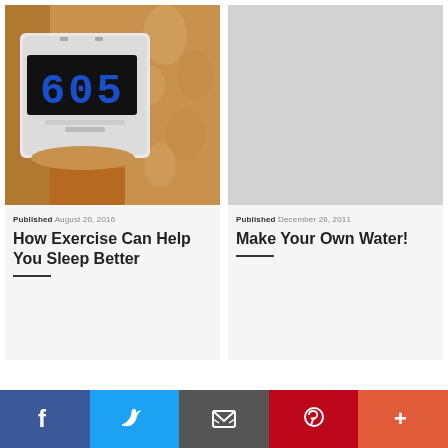[Figure (photo): Alarm clock showing 6:05 on a digital display, sitting on a wooden surface next to a floral-patterned bedsheet]
Published August 20, 2016
How Exercise Can Help You Sleep Better
[Figure (photo): Light grey placeholder image]
Published December 26, 2011
Make Your Own Water!
f  [twitter bird]  [email]  p  +